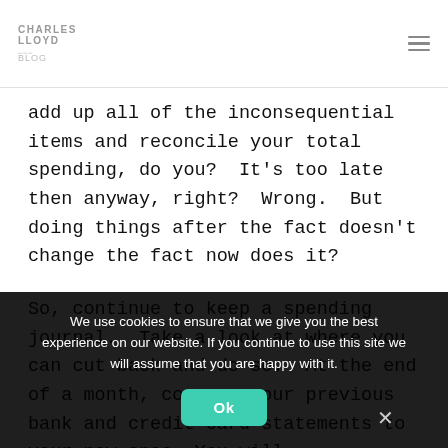CHARLES LLOYD
add up all of the inconsequential items and reconcile your total spending, do you?  It's too late then anyway, right?  Wrong.  But doing things after the fact doesn't change the fact now does it?
So, continue to keep a spending journal.  Take a look at where you can cut back and do so.  At the end of a month, compare your previous bank and credit card statements to your new ones. You will
We use cookies to ensure that we give you the best experience on our website. If you continue to use this site we will assume that you are happy with it.